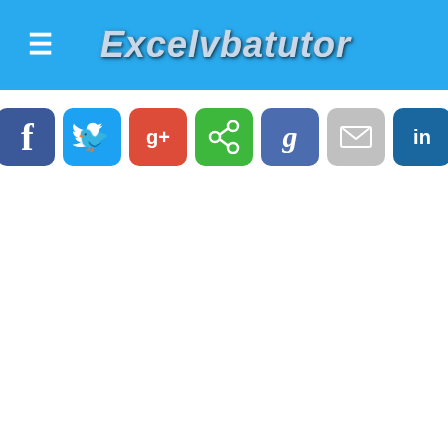Excelvbatutor
[Figure (screenshot): Row of 7 social media sharing buttons: Facebook (dark blue, f), Twitter (light blue, bird), Google+ (red, g+), Share (green, share icon), Google (blue-purple, g), Email (grey, envelope), LinkedIn (dark blue, in)]